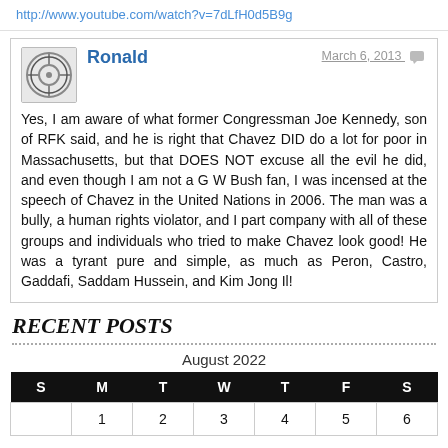http://www.youtube.com/watch?v=7dLfH0d5B9g
Ronald — March 6, 2013
Yes, I am aware of what former Congressman Joe Kennedy, son of RFK said, and he is right that Chavez DID do a lot for poor in Massachusetts, but that DOES NOT excuse all the evil he did, and even though I am not a G W Bush fan, I was incensed at the speech of Chavez in the United Nations in 2006. The man was a bully, a human rights violator, and I part company with all of these groups and individuals who tried to make Chavez look good! He was a tyrant pure and simple, as much as Peron, Castro, Gaddafi, Saddam Hussein, and Kim Jong Il!
RECENT POSTS
| S | M | T | W | T | F | S |
| --- | --- | --- | --- | --- | --- | --- |
|  | 1 | 2 | 3 | 4 | 5 | 6 |